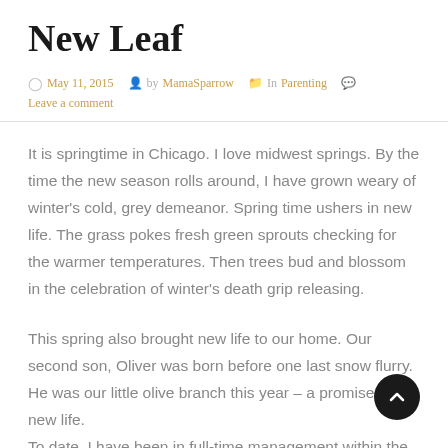New Leaf
May 11, 2015  by MamaSparrow  In Parenting  Leave a comment
It is springtime in Chicago. I love midwest springs. By the time the new season rolls around, I have grown weary of winter's cold, grey demeanor. Spring time ushers in new life. The grass pokes fresh green sprouts checking for the warmer temperatures. Then trees bud and blossom in the celebration of winter's death grip releasing.
This spring also brought new life to our home. Our second son, Oliver was born before one last snow flurry. He was our little olive branch this year – a promise of new life. To date, I have been in full-time management within the